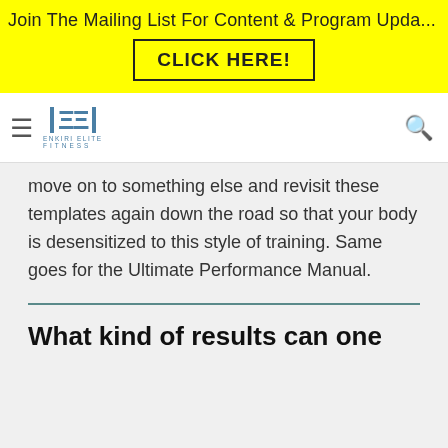Join The Mailing List For Content & Program Upda...
CLICK HERE!
[Figure (logo): Enkiri Elite Fitness logo with hamburger menu and search icon]
move on to something else and revisit these templates again down the road so that your body is desensitized to this style of training. Same goes for the Ultimate Performance Manual.
What kind of results can one